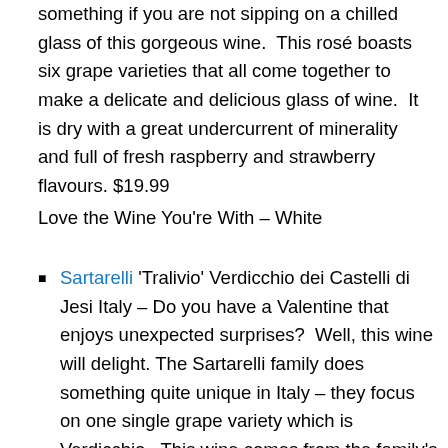something if you are not sipping on a chilled glass of this gorgeous wine.  This rosé boasts six grape varieties that all come together to make a delicate and delicious glass of wine.  It is dry with a great undercurrent of minerality and full of fresh raspberry and strawberry flavours. $19.99
Love the Wine You're With – White
Sartarelli 'Tralivio' Verdicchio dei Castelli di Jesi Italy – Do you have a Valentine that enjoys unexpected surprises?  Well, this wine will delight. The Sartarelli family does something quite unique in Italy – they focus on one single grape variety which is Verdicchio.  This wine comes from the family's oldest vineyard and has been carefully tended and grown.  You will find beautiful floral notes in the wine as well as flavours of